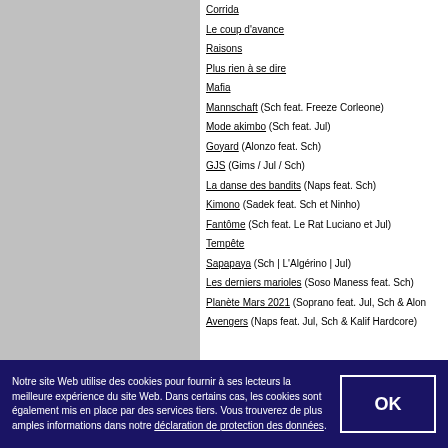Corrida
Le coup d'avance
Raisons
Plus rien à se dire
Mafia
Mannschaft (Sch feat. Freeze Corleone)
Mode akimbo (Sch feat. Jul)
Goyard (Alonzo feat. Sch)
GJS (Gims / Jul / Sch)
La danse des bandits (Naps feat. Sch)
Kimono (Sadek feat. Sch et Ninho)
Fantôme (Sch feat. Le Rat Luciano et Jul)
Tempête
Sapapaya (Sch | L'Algérino | Jul)
Les derniers marioles (Soso Maness feat. Sch)
Planète Mars 2021 (Soprano feat. Jul, Sch & Alon…)
Avengers (Naps feat. Jul, Sch & Kalif Hardcore)
Notre site Web utilise des cookies pour fournir à ses lecteurs la meilleure expérience du site Web. Dans certains cas, les cookies sont également mis en place par des services tiers. Vous trouverez de plus amples informations dans notre déclaration de protection des données.